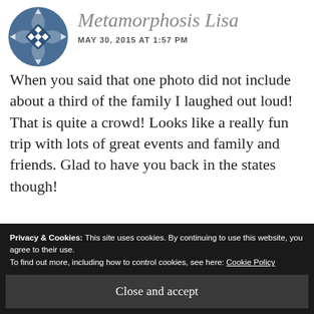[Figure (logo): Blue geometric diamond/circular logo icon for Metamorphosis Lisa]
Metamorphosis Lisa
MAY 30, 2015 AT 1:57 PM
When you said that one photo did not include about a third of the family I laughed out loud! That is quite a crowd! Looks like a really fun trip with lots of great events and family and friends. Glad to have you back in the states though!
Privacy & Cookies: This site uses cookies. By continuing to use this website, you agree to their use. To find out more, including how to control cookies, see here: Cookie Policy
Close and accept